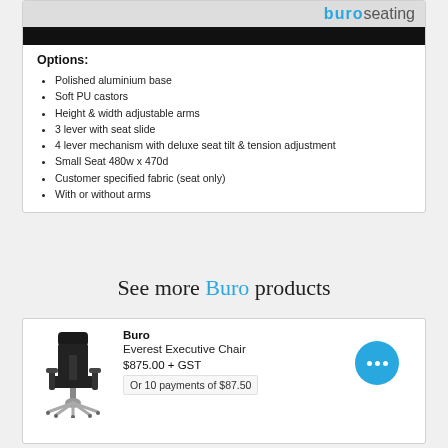[Figure (photo): Buro seating product banner image with dark background]
Options:
Polished aluminium base
Soft PU castors
Height & width adjustable arms
3 lever with seat slide
4 lever mechanism with deluxe seat tilt & tension adjustment
Small Seat 480w x 470d
Customer specified fabric (seat only)
With or without arms
See more Buro products
[Figure (photo): Buro Everest Executive Chair product photo]
Buro
Everest Executive Chair
$875.00 + GST
Or 10 payments of $87.50